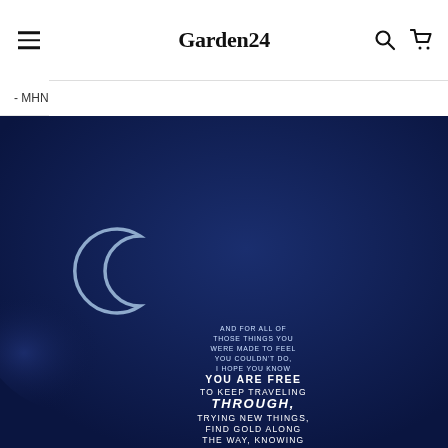Garden24
- MHN
[Figure (illustration): Dark navy blue background illustration with a crescent moon shape and handwritten white text reading: AND FOR ALL OF THOSE THINGS YOU WERE MADE TO FEEL YOU COULDN'T DO, I HOPE YOU KNOW YOU ARE FREE TO KEEP TRAVELING THROUGH, TRYING NEW THINGS, FIND GOLD ALONG THE WAY, KNOWING THAT EVEN WHEN YOU ARE DOUBTED YOU ARE GROWING EVERY DAY]